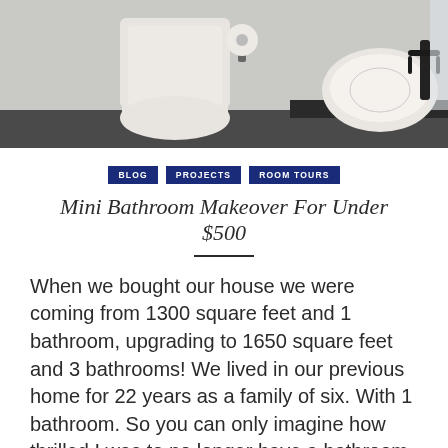[Figure (photo): Bathroom interior showing a white toilet with toilet paper holder and a white vessel sink with dark faucet on a dark vanity, against light gray walls]
BLOG
PROJECTS
ROOM TOURS
Mini Bathroom Makeover For Under $500
When we bought our house we were coming from 1300 square feet and 1 bathroom, upgrading to 1650 square feet and 3 bathrooms! We lived in our previous home for 22 years as a family of six. With 1 bathroom. So you can only imagine how thrilled I was to no longer have a bathroom ...